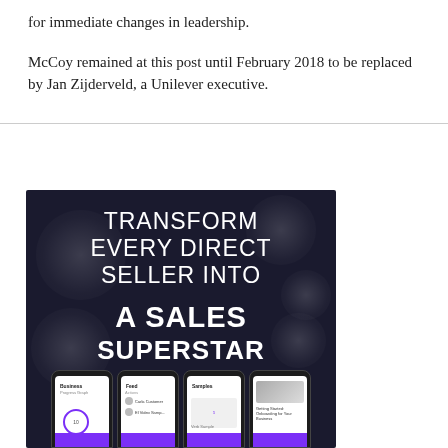for immediate changes in leadership.
McCoy remained at this post until February 2018 to be replaced by Jan Zijderveld, a Unilever executive.
[Figure (photo): Advertisement image with dark background showing text 'TRANSFORM EVERY DIRECT SELLER INTO A SALES SUPERSTAR' with smartphone screens at the bottom showing app interfaces labeled Business, Feed, Samples, and a fourth screen.]